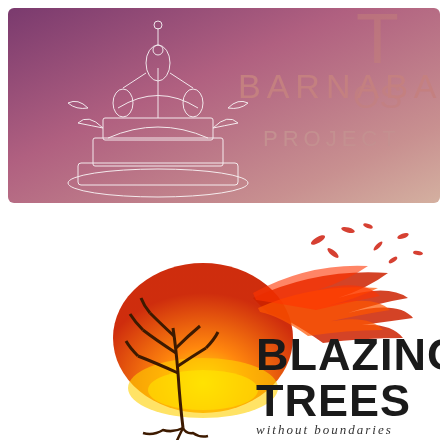[Figure (logo): Barnabas Post Project logo: purple-pink gradient background with white line-art of a fountain/sculpture figure on the left, and text 'BARNABAS POST PROJECT' in rose/dusty pink on the right]
[Figure (logo): Blazing Trees logo: a dark tree with orange and red flames sweeping to the right like wind, with red leaves flying off; text 'BLAZING TREES' in large black sans-serif and 'without boundaries' in smaller italic below]